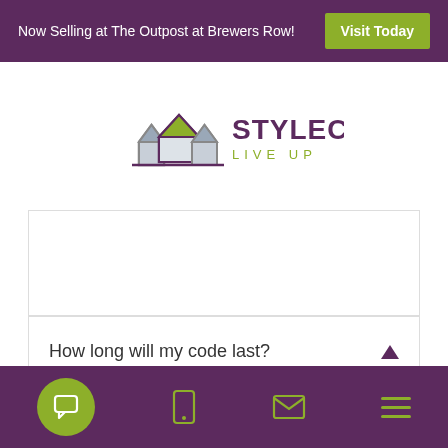Now Selling at The Outpost at Brewers Row! Visit Today
[Figure (logo): Stylecraft Live Up logo with house icons in purple and green]
How long will my code last?
Your unique, 4-digit entry code will last for your scheduled 1-hour tour. You can come and go using
Navigation bar with chat, mobile, email, and menu icons